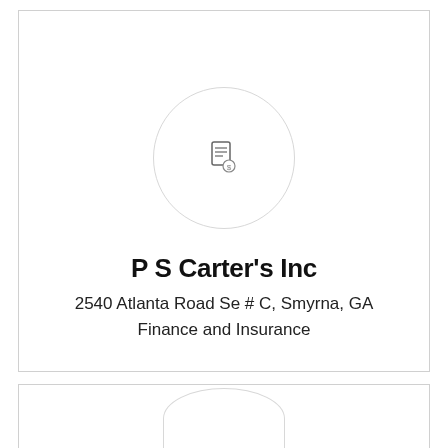[Figure (logo): Document/invoice icon inside a circle — company placeholder logo]
P S Carter's Inc
2540 Atlanta Road Se # C, Smyrna, GA
Finance and Insurance
View Details
[Figure (logo): Partial circle visible at bottom of page — second card beginning]